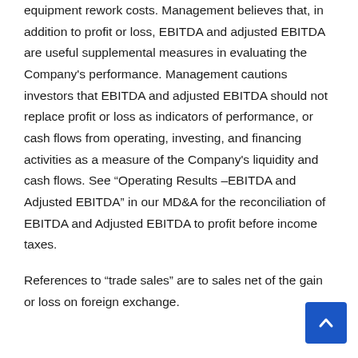equipment rework costs. Management believes that, in addition to profit or loss, EBITDA and adjusted EBITDA are useful supplemental measures in evaluating the Company's performance. Management cautions investors that EBITDA and adjusted EBITDA should not replace profit or loss as indicators of performance, or cash flows from operating, investing, and financing activities as a measure of the Company's liquidity and cash flows. See “Operating Results –EBITDA and Adjusted EBITDA” in our MD&A for the reconciliation of EBITDA and Adjusted EBITDA to profit before income taxes.
References to “trade sales” are to sales net of the gain or loss on foreign exchange.